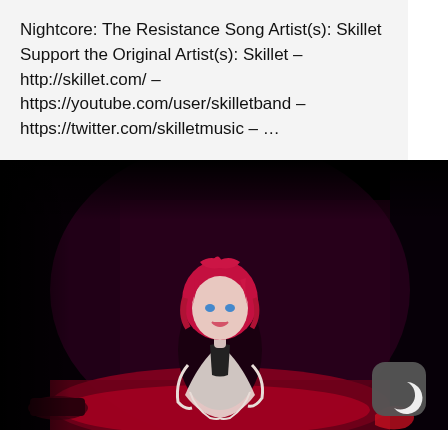Nightcore: The Resistance Song Artist(s): Skillet Support the Original Artist(s): Skillet – http://skillet.com/ – https://youtube.com/user/skilletband – https://twitter.com/skilletmusic – …
[Figure (illustration): Dark-toned anime-style illustration of a female character with pink/red hair sitting on a surface, illuminated by red-purple lighting against a dark background. A moon icon badge is visible in the bottom-right corner.]